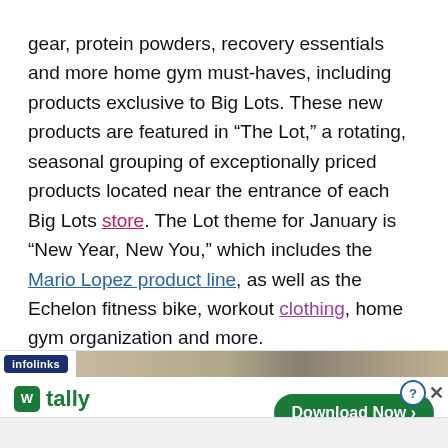gear, protein powders, recovery essentials and more home gym must-haves, including products exclusive to Big Lots. These new products are featured in “The Lot,” a rotating, seasonal grouping of exceptionally priced products located near the entrance of each Big Lots store. The Lot theme for January is “New Year, New You,” which includes the Mario Lopez product line, as well as the Echelon fitness bike, workout clothing, home gym organization and more.
[Figure (screenshot): Infolinks advertisement banner featuring Tally app with tagline 'Fast credit card payoff' and a green 'Download Now' button]